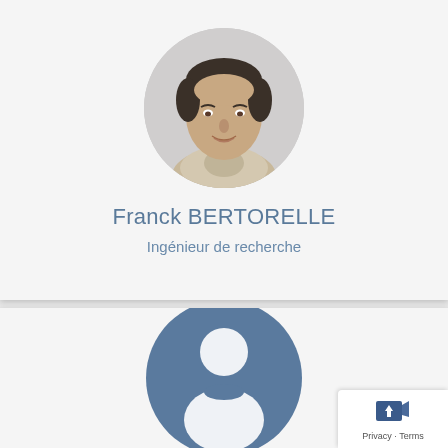[Figure (photo): Circular profile photo of a middle-aged man with dark hair, wearing a light-colored sweater, against a grey background]
Franck BERTORELLE
Ingénieur de recherche
[Figure (illustration): Generic person silhouette icon in white on a dark blue-grey circular background]
Privacy · Terms